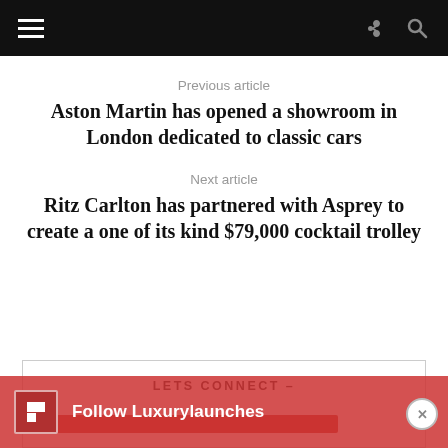Previous article
Aston Martin has opened a showroom in London dedicated to classic cars
Next article
Ritz Carlton has partnered with Asprey to create a one of its kind $79,000 cocktail trolley
LETS CONNECT –
Follow Luxurylaunches